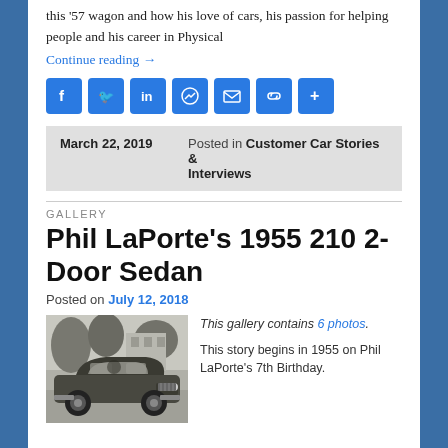this '57 wagon and how his love of cars, his passion for helping people and his career in Physical
Continue reading →
[Figure (infographic): Social sharing icons: Facebook, Twitter, LinkedIn, Messenger, Email, Copy Link, Share]
March 22, 2019   Posted in Customer Car Stories & Interviews
GALLERY
Phil LaPorte's 1955 210 2-Door Sedan
Posted on July 12, 2018
[Figure (photo): Black and white photo of a 1955 Chevrolet 2-Door Sedan parked on a street]
This gallery contains 6 photos.
This story begins in 1955 on Phil LaPorte's 7th Birthday.